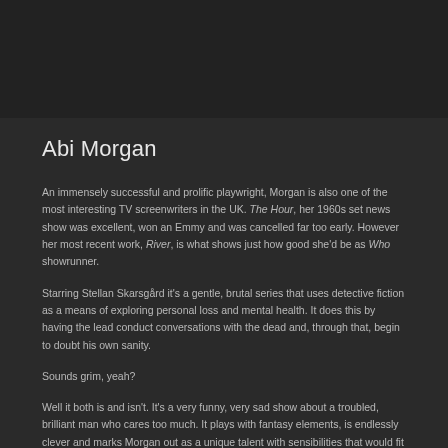Abi Morgan
An immensely successful and prolific playwright, Morgan is also one of the most interesting TV screenwriters in the UK. The Hour, her 1960s set news show was excellent, won an Emmy and was cancelled far too early. However her most recent work, River, is what shows just how good she'd be as Who showrunner.
Starring Stellan Skarsgård it's a gentle, brutal series that uses detective fiction as a means of exploring personal loss and mental health. It does this by having the lead conduct conversations with the dead and, through that, begin to doubt his own sanity.
Sounds grim, yeah?
Well it both is and isn't. It's a very funny, very sad show about a troubled, brilliant man who cares too much. It plays with fantasy elements, is endlessly clever and marks Morgan out as a unique talent with sensibilities that would fit Doctor Who like a glove.